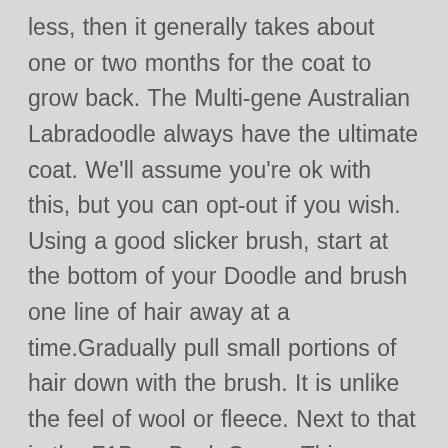less, then it generally takes about one or two months for the coat to grow back. The Multi-gene Australian Labradoodle always have the ultimate coat. We'll assume you're ok with this, but you can opt-out if you wish. Using a good slicker brush, start at the bottom of your Doodle and brush one line of hair away at a time.Gradually pull small portions of hair down with the brush. It is unlike the feel of wool or fleece. Next to that is the F1B or Back Cross. This category only includes cookies that ensures basic functionalities and security features of the website. . That doesn't mean that your puppy might not benefit from a puppy clip in the meantime! A Labradoodle's coat does not shed much, however due to the breed's hair growth, this breed of dogs needs grooming on a regular basis in order to keep the coat from matting. Don't let your puppy's hair get out of control! Baby's first haircut is an exciting